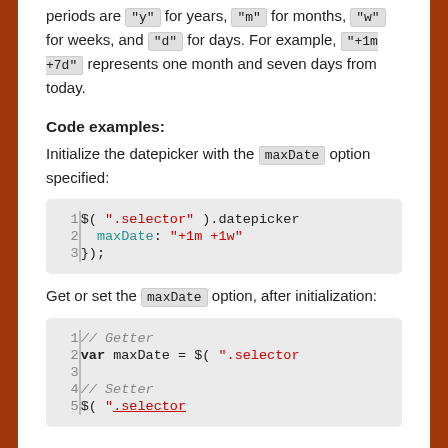periods are "y" for years, "m" for months, "w" for weeks, and "d" for days. For example, "+1m +7d" represents one month and seven days from today.
Code examples:
Initialize the datepicker with the maxDate option specified:
[Figure (screenshot): Code block showing: 1 $( ".selector" ).datepicker  2   maxDate: "+1m +1w"  3 });]
Get or set the maxDate option, after initialization:
[Figure (screenshot): Code block showing: 1 // Getter  2 var maxDate = $( ".selector  3 (blank)  4 // Setter  5 $( ".selector" ).datepicker]